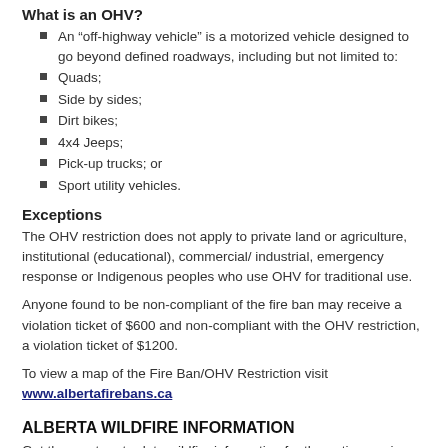What is an OHV?
An “off-highway vehicle” is a motorized vehicle designed to go beyond defined roadways, including but not limited to:
Quads;
Side by sides;
Dirt bikes;
4x4 Jeeps;
Pick-up trucks; or
Sport utility vehicles.
Exceptions
The OHV restriction does not apply to private land or agriculture, institutional (educational), commercial/ industrial, emergency response or Indigenous peoples who use OHV for traditional use.
Anyone found to be non-compliant of the fire ban may receive a violation ticket of $600 and non-compliant with the OHV restriction, a violation ticket of $1200.
To view a map of the Fire Ban/OHV Restriction visit www.albertafirebans.ca
ALBERTA WILDFIRE INFORMATION
Get the most up-to-date wildfire information for the entire province, download the free Alberta Wildfire Android or Apple products.